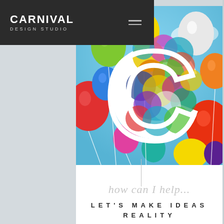CARNIVAL DESIGN STUDIO
[Figure (illustration): Colorful balloons against a blue sky with a large decorative letter C made of overlapping colorful circles in the foreground]
how can I help...
LET'S MAKE IDEAS REALITY